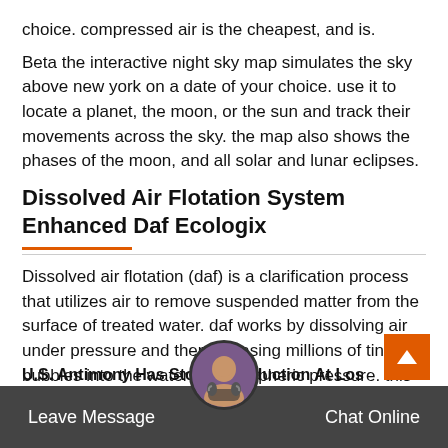choice. compressed air is the cheapest, and is.
Beta the interactive night sky map simulates the sky above new york on a date of your choice. use it to locate a planet, the moon, or the sun and track their movements across the sky. the map also shows the phases of the moon, and all solar and lunar eclipses.
Dissolved Air Flotation System Enhanced Daf Ecologix
Dissolved air flotation (daf) is a clarification process that utilizes air to remove suspended matter from the surface of treated water. daf works by dissolving air under pressure and then releasing millions of tiny air bubbles into the water at atmospheric pressure. this process allows the dissolv air bubbles to adhere to a ed matter.
U.S. Antimony Has Sto e Production At Los
Leave Message
Chat Online